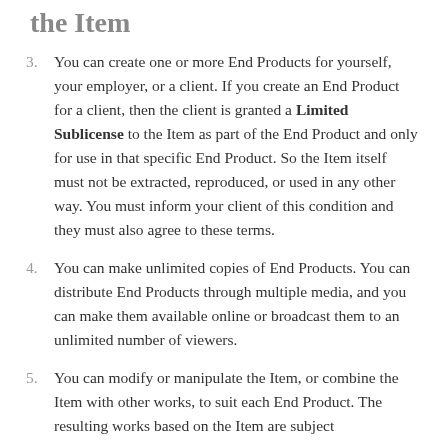the Item
3. You can create one or more End Products for yourself, your employer, or a client. If you create an End Product for a client, then the client is granted a Limited Sublicense to the Item as part of the End Product and only for use in that specific End Product. So the Item itself must not be extracted, reproduced, or used in any other way. You must inform your client of this condition and they must also agree to these terms.
4. You can make unlimited copies of End Products. You can distribute End Products through multiple media, and you can make them available online or broadcast them to an unlimited number of viewers.
5. You can modify or manipulate the Item, or combine the Item with other works, to suit each End Product. The resulting works based on the Item are subject